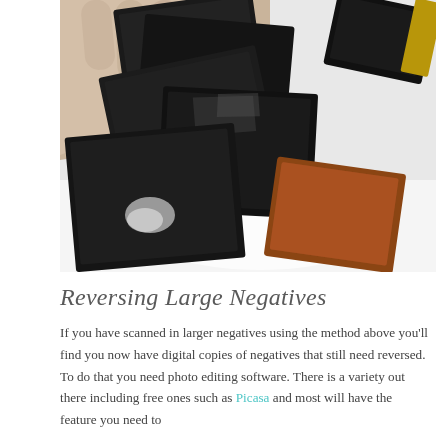[Figure (photo): A hand holding several large dark photographic negatives fanned out on a white surface. One negative has an amber/orange-brown border visible. The negatives are dark black with slight reflections.]
Reversing Large Negatives
If you have scanned in larger negatives using the method above you'll find you now have digital copies of negatives that still need reversed. To do that you need photo editing software. There is a variety out there including free ones such as Picasa and most will have the feature you need to